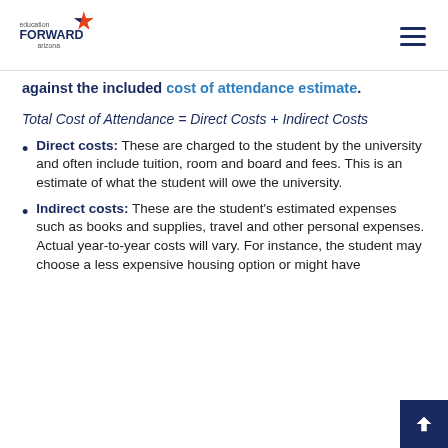education FORWARD arizona
against the included cost of attendance estimate.
Direct costs: These are charged to the student by the university and often include tuition, room and board and fees. This is an estimate of what the student will owe the university.
Indirect costs: These are the student's estimated expenses such as books and supplies, travel and other personal expenses. Actual year-to-year costs will vary. For instance, the student may choose a less expensive housing option or might have